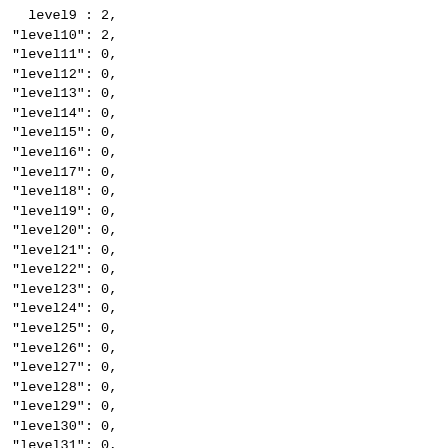level9 : 2,
"level10": 2,
"level11": 0,
"level12": 0,
"level13": 0,
"level14": 0,
"level15": 0,
"level16": 0,
"level17": 0,
"level18": 0,
"level19": 0,
"level20": 0,
"level21": 0,
"level22": 0,
"level23": 0,
"level24": 0,
"level25": 0,
"level26": 0,
"level27": 0,
"level28": 0,
"level29": 0,
"level30": 0,
"level31": 0,
"level32": 0
}
}
snap count = 1000000
2022-03-02T05:12:15.574+05:30 [Info] MemDB::StoreToDisk:
Storing to disk took 347.152128ms
Loading from disk took 331.96016ms
[